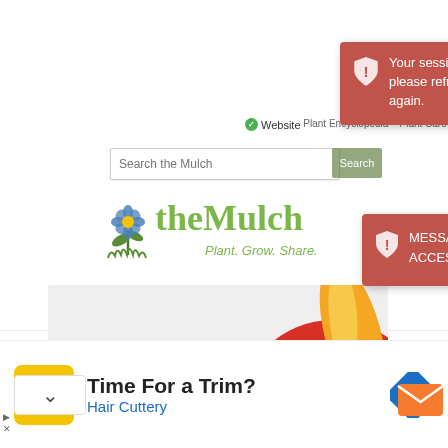[Figure (screenshot): Website screenshot of 'theMulch' plant community website showing navigation bar with search field, logo with tagline 'Plant. Grow. Share.', a banner area with decorative red/orange graphic, and two error notification toasts overlaid on the page. Below the main content is an advertisement for Hair Cuttery.]
Sign in | Join our community!
Website
Plant Encyclopedia   Plant Care Reminders
Search the Mulch
Search
theMulch
Plant. Grow. Share.
Your session might have expired, please refresh the page and try again.
MESSAGE_RESTRICTED_ACCESS
Time For a Trim?
Hair Cuttery